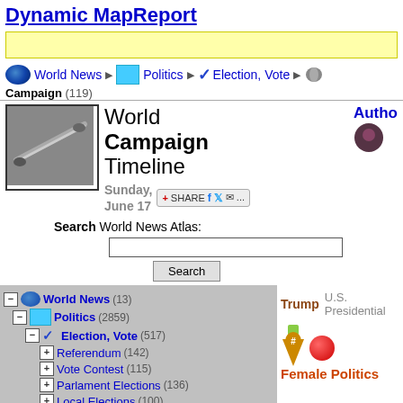Dynamic MapReport
[Figure (other): Yellow banner/ad bar]
World News > Politics > Election, Vote > Campaign (119)
World Campaign Timeline Sunday, June 17
Search World News Atlas:
World News (13)
Politics (2859)
Election, Vote (517)
Referendum (142)
Vote Contest (115)
Parlament Elections (136)
Local Elections (100)
Incumbent Win (156)
Trump  U.S. Presidential
Female Politics